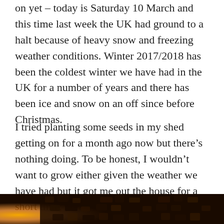on yet – today is Saturday 10 March and this time last week the UK had ground to a halt because of heavy snow and freezing weather conditions. Winter 2017/2018 has been the coldest winter we have had in the UK for a number of years and there has been ice and snow on an off since before Christmas.
I tried planting some seeds in my shed getting on for a month ago now but there's nothing doing. To be honest, I wouldn't want to grow either given the weather we have had but it got me out the house for a short time, on a more mild day.
[Figure (photo): Bottom strip of a photograph showing dark textured organic material (possibly seeds or plant matter) with warm orange/yellow light in the upper left corner.]